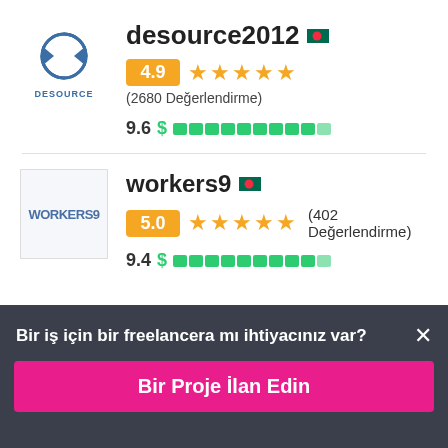[Figure (logo): Desource logo with circular arrow icon and text DESOURCE]
desource2012
4.9 ★★★★★ (2680 Değerlendirme)
9.6 $ ██████████
[Figure (logo): Workers9 logo with blue text on light background]
workers9
5.0 ★★★★★ (402 Değerlendirme)
9.4 $ █████████
Bir iş için bir freelancera mı ihtiyacınız var? ×
Bir Proje İlan Edin